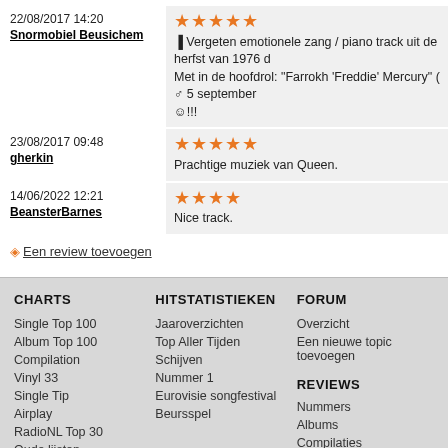22/08/2017 14:20
Snormobiel Beusichem
★★★★★
Vergeten emotionele zang / piano track uit de herfst van 1976 d
Met in de hoofdrol: "Farrokh 'Freddie' Mercury" ( ♂ 5 september
☺!!!
23/08/2017 09:48
gherkin
★★★★★
Prachtige muziek van Queen.
14/06/2022 12:21
BeansterBarnes
★★★★
Nice track.
◇ Een review toevoegen
CHARTS
Single Top 100
Album Top 100
Compilation
Vinyl 33
Single Tip
Airplay
RadioNL Top 30
Oude lijsten
Formatteringsregels
HITSTATISTIEKEN
Jaaroverzichten
Top Aller Tijden
Schijven
Nummer 1
Eurovisie songfestival
Beursspel
FORUM
Overzicht
Een nieuwe topic toevoegen
REVIEWS
Nummers
Albums
Compilaties
Leden
Nederlandse leden
50 laatste reviews
VERJAARDAGEN